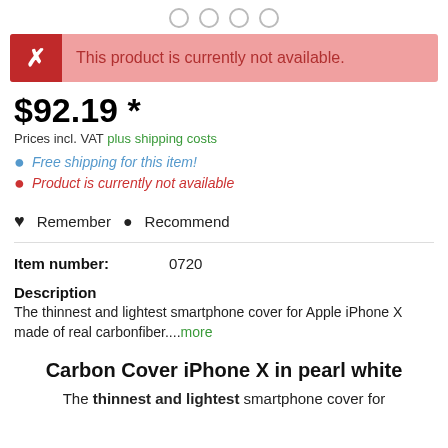This product is currently not available.
$92.19 *
Prices incl. VAT plus shipping costs
Free shipping for this item!
Product is currently not available
Remember  Recommend
Item number:   0720
Description
The thinnest and lightest smartphone cover for Apple iPhone X made of real carbonfiber....more
Carbon Cover iPhone X in pearl white
The thinnest and lightest smartphone cover for